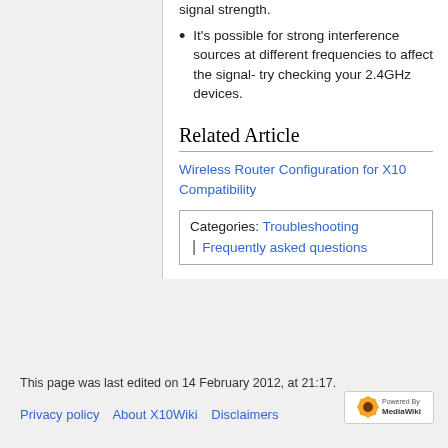signal strength.
It's possible for strong interference sources at different frequencies to affect the signal- try checking your 2.4GHz devices.
Related Article
Wireless Router Configuration for X10 Compatibility
Categories:  Troubleshooting | Frequently asked questions
This page was last edited on 14 February 2012, at 21:17.
Privacy policy    About X10Wiki    Disclaimers